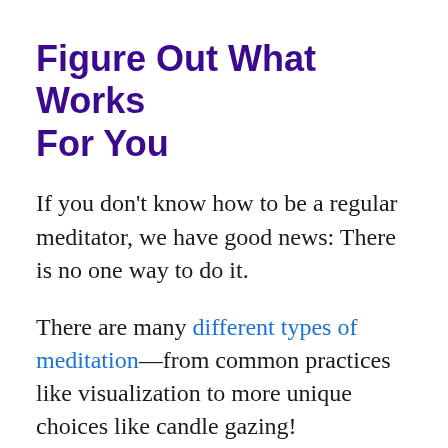Figure Out What Works For You
If you don’t know how to be a regular meditator, we have good news: There is no one way to do it.
There are many different types of meditation—from common practices like visualization to more unique choices like candle gazing!
It’s not a one-size-fits-all approach. And the more you experiment, the more likely you are to find the